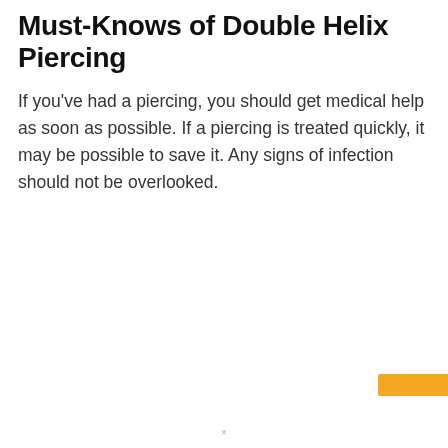Must-Knows of Double Helix Piercing
If you've had a piercing, you should get medical help as soon as possible. If a piercing is treated quickly, it may be possible to save it. Any signs of infection should not be overlooked.
×